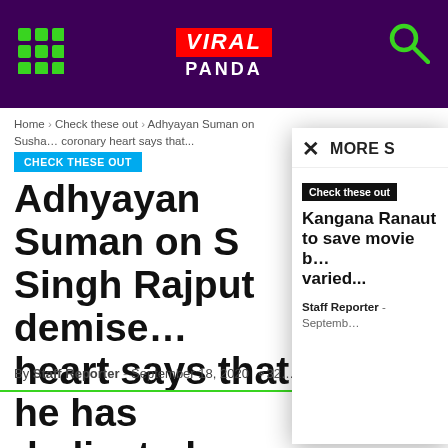VIRAL PANDA
Home › Check these out › Adhyayan Suman on Susha... coronary heart says that...
CHECK THESE OUT
Adhyayan Suman on Singh Rajput demise... heart says that he has... dedicated suicide
By Staff Reporter - September 18, 2020  32...
Check these out
Kangana Ranaut to save movie b... varied...
Staff Reporter - Septemb...